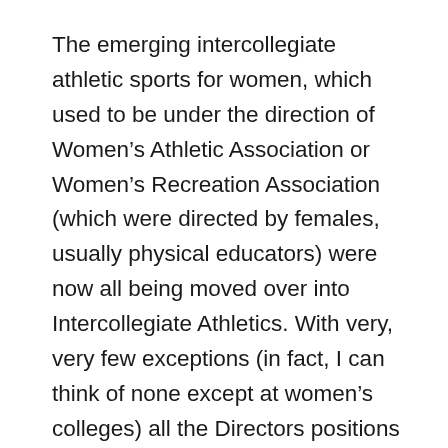The emerging intercollegiate athletic sports for women, which used to be under the direction of Women's Athletic Association or Women's Recreation Association (which were directed by females, usually physical educators) were now all being moved over into Intercollegiate Athletics. With very, very few exceptions (in fact, I can think of none except at women's colleges) all the Directors positions were taken over by men: And one of the things that I said was, “Well, okay, men have been doing this longer, and fair enough, but if Title IX is supposed to be about equity, what about